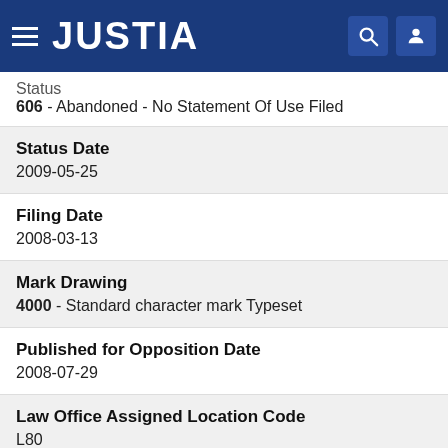JUSTIA
606 - Abandoned - No Statement Of Use Filed
Status Date
2009-05-25
Filing Date
2008-03-13
Mark Drawing
4000 - Standard character mark Typeset
Published for Opposition Date
2008-07-29
Law Office Assigned Location Code
L80